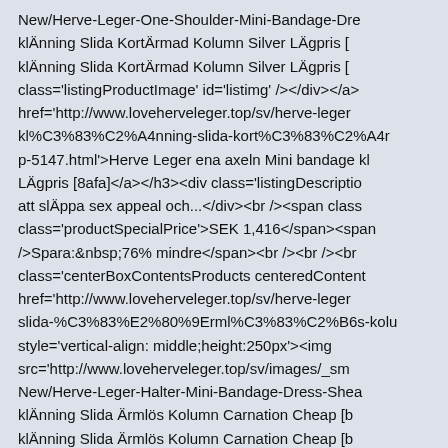New/Herve-Leger-One-Shoulder-Mini-Bandage-Dre... klänning Slida Kortärmad Kolumn Silver Lågpris [... klänning Slida Kortärmad Kolumn Silver Lågpris [... class='listingProductImage' id='listimg' /></div></a>... href='http://www.loveherveleger.top/sv/herve-leger-... kl%C3%83%C2%A4nning-slida-kort%C3%83%C2%A4r... p-5147.html'>Herve Leger ena axeln Mini bandage klä... Lågpris [8afa]</a></h3><div class='listingDescriptio... att släppa sex appeal och...</div><br /><span class... class='productSpecialPrice'>SEK 1,416</span><span... />Spara:&nbsp;76% mindre</span><br /><br /><br... class='centerBoxContentsProducts centeredContent... href='http://www.loveherveleger.top/sv/herve-leger-... slida-%C3%83%E2%80%9Erml%C3%83%C2%B6s-kolu... style='vertical-align: middle;height:250px'><img src='http://www.loveherveleger.top/sv/images/_sm... New/Herve-Leger-Halter-Mini-Bandage-Dress-Shea... klänning Slida Ärmlös Kolumn Carnation Cheap [b... klänning Slida Ärmlös Kolumn Carnation Cheap [b... class='listingProductImage' id='listimg' /></div>...